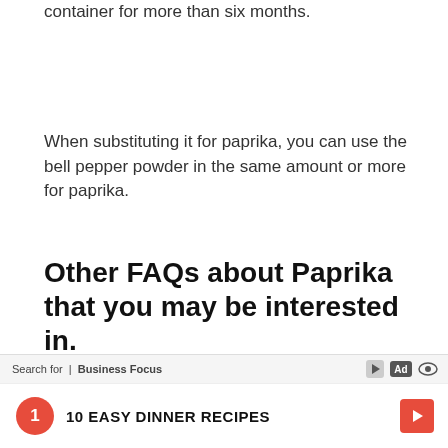You can store your homemade paprika in an air-tight container for more than six months.
When substituting it for paprika, you can use the bell pepper powder in the same amount or more for paprika.
Other FAQs about Paprika that you may be interested in.
Can I use paprika instead of turmeric?
Does paprika have a taste?
[Figure (screenshot): Video player overlay showing 'No compatible source was found for this media.' with ad controls and close button]
Search for | Business Focus — Ad icons
1  10 EASY DINNER RECIPES  ▶